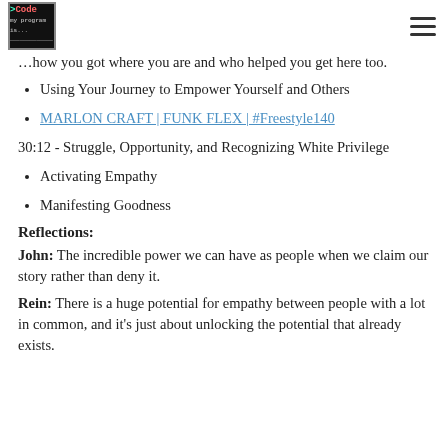>Code logo and hamburger menu
…how you got where you are and who helped you get here too.
Using Your Journey to Empower Yourself and Others
MARLON CRAFT | FUNK FLEX | #Freestyle140
30:12 - Struggle, Opportunity, and Recognizing White Privilege
Activating Empathy
Manifesting Goodness
Reflections:
John: The incredible power we can have as people when we claim our story rather than deny it.
Rein: There is a huge potential for empathy between people with a lot in common, and it's just about unlocking the potential that already exists.